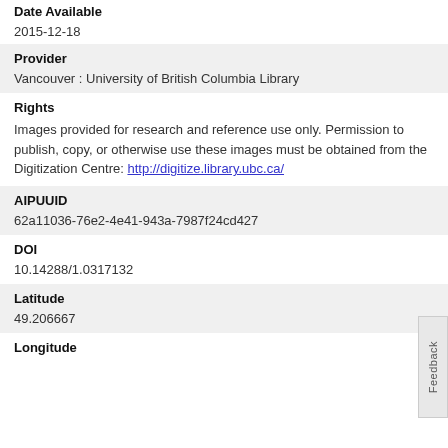Date Available
2015-12-18
Provider
Vancouver : University of British Columbia Library
Rights
Images provided for research and reference use only. Permission to publish, copy, or otherwise use these images must be obtained from the Digitization Centre: http://digitize.library.ubc.ca/
AIPUUID
62a11036-76e2-4e41-943a-7987f24cd427
DOI
10.14288/1.0317132
Latitude
49.206667
Longitude